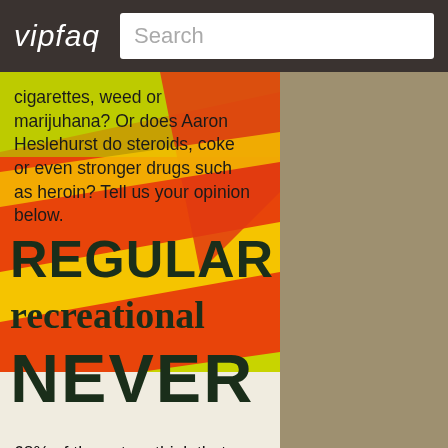vipfaq | Search
cigarettes, weed or marijuhana? Or does Aaron Heslehurst do steroids, coke or even stronger drugs such as heroin? Tell us your opinion below.
[Figure (infographic): Colorful infographic with diagonal red, yellow, and green stripes showing three voting options: REGULAR, recreational, NEVER]
68% of the voters think that Aaron Heslehurst does do drugs regularly. 21% assume that Aaron